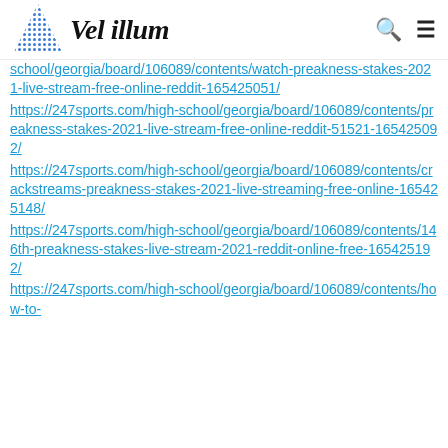Vel illum
https://247sports.com/high-school/georgia/board/106089/contents/watch-preakness-stakes-2021-live-stream-free-online-reddit-165425051/
https://247sports.com/high-school/georgia/board/106089/contents/preakness-stakes-2021-live-stream-free-online-reddit-51521-165425092/
https://247sports.com/high-school/georgia/board/106089/contents/crackstreams-preakness-stakes-2021-live-streaming-free-online-165425148/
https://247sports.com/high-school/georgia/board/106089/contents/146th-preakness-stakes-live-stream-2021-reddit-online-free-165425192/
https://247sports.com/high-school/georgia/board/106089/contents/how-to-